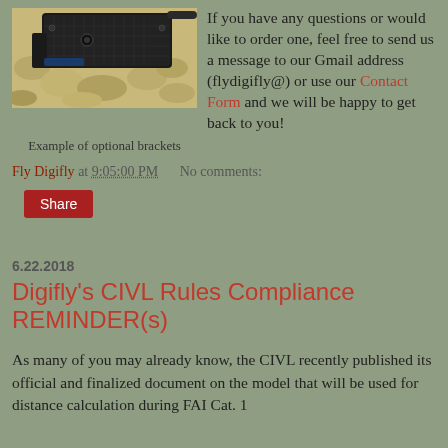[Figure (photo): Close-up photo of a black device bracket or mount resting on a stone/pebble surface, with a thin rod or antenna visible]
Example of optional brackets
If you have any questions or would like to order one, feel free to send us a message to our Gmail address (flydigifly@) or use our Contact Form and we will be happy to get back to you!
Fly Digifly at 9:05:00 PM    No comments:
Share
6.22.2018
Digifly's CIVL Rules Compliance REMINDER(s)
As many of you may already know, the CIVL recently published its official and finalized document on the model that will be used for distance calculation during FAI Cat. 1